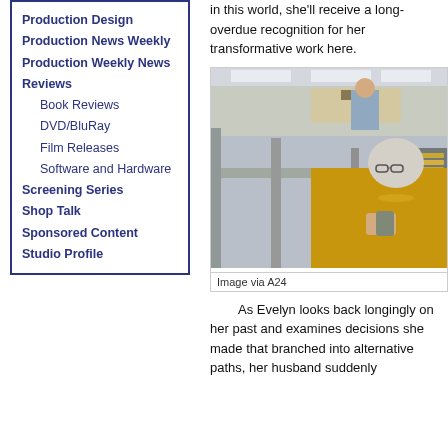Production Design
Production News Weekly
Production Weekly News
Reviews
Book Reviews
DVD/BluRay
Film Releases
Software and Hardware
Screening Series
Shop Talk
Sponsored Content
Studio Profile
in this world, she'll receive a long-overdue recognition for her transformative work here.
[Figure (photo): A woman with white/grey hair wearing a yellow top and gold necklace sits in an office cubicle environment, looking at the camera. A man in a light blue shirt is visible in the background.]
Image via A24
As Evelyn looks back longingly on her past and examines decisions she made that branched into alternative paths, her husband suddenly